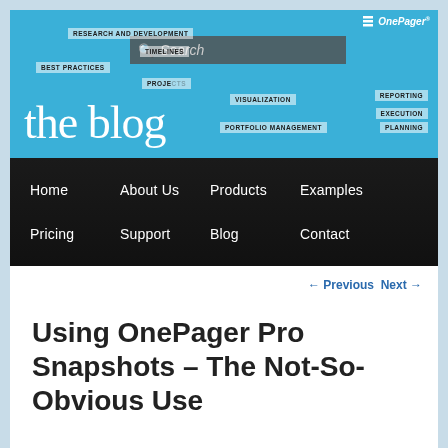[Figure (screenshot): OnePager blog header banner with blue background, word cloud tags (RESEARCH AND DEVELOPMENT, TIMELINES, BEST PRACTICES, PROJECTS, VISUALIZATION, REPORTING, EXECUTION, PORTFOLIO MANAGEMENT, PLANNING), search bar, and 'the blog' title text with OnePager logo]
Home  About Us  Products  Examples  Pricing  Support  Blog  Contact
← Previous  Next →
Using OnePager Pro Snapshots – The Not-So-Obvious Use